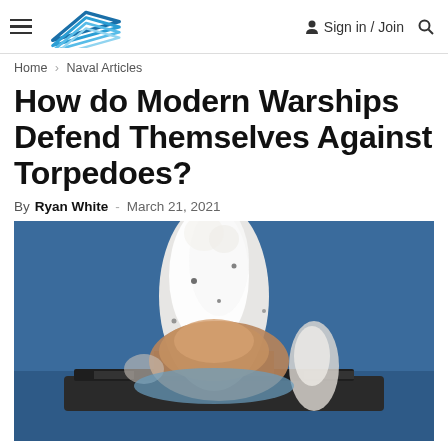Naval News | Sign in / Join
Home › Naval Articles
How do Modern Warships Defend Themselves Against Torpedoes?
By Ryan White - March 21, 2021
[Figure (photo): Explosion of a torpedo hitting a warship at sea, with large white and brown plumes of water and debris erupting from the hull of the vessel, ocean visible in the background.]